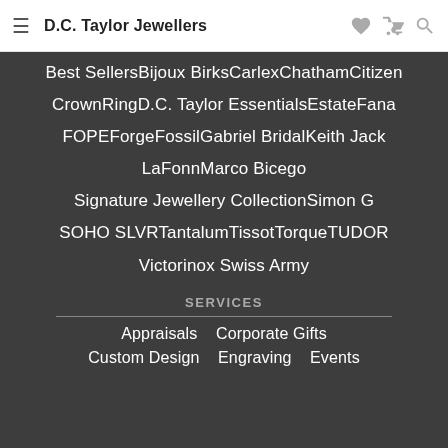D.C. Taylor Jewellers
Best SellersBijoux BirksCarlexChathamCitizen
CrownRingD.C. Taylor EssentialsEstateFana
FOPEForgeFossilGabriel BridalKeith Jack
LaFonnMarco Bicego
Signature Jewellery CollectionSimon G
SOHO SLVRTantalumTissotTorqueTUDOR
Victorinox Swiss Army
SERVICES
Appraisals   Corporate Gifts
Custom Design   Engraving   Events